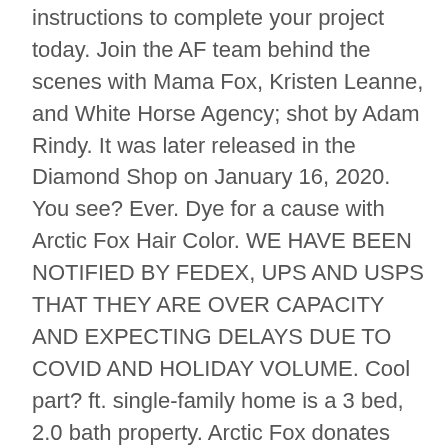instructions to complete your project today. Join the AF team behind the scenes with Mama Fox, Kristen Leanne, and White Horse Agency; shot by Adam Rindy. It was later released in the Diamond Shop on January 16, 2020. You see? Ever. Dye for a cause with Arctic Fox Hair Color. WE HAVE BEEN NOTIFIED BY FEDEX, UPS AND USPS THAT THEY ARE OVER CAPACITY AND EXPECTING DELAYS DUE TO COVID AND HOLIDAY VOLUME. Cool part? ft. single-family home is a 3 bed, 2.0 bath property. Arctic Fox donates 15% of its profits to prevent animal cruelty and strives to illuminate the importance of using cruelty-free products. Our NEW AF lime green bowl is here to help you mix it up! For the party that host this shop, see Horses Only Party. Meagyn's Pet Bear; Pet Golden Bunny; Pet Frilled Lizard; ... Greely's Haunted Hideout; Enchanted Hollow; Snow Fort; Games. POOL PARTY Ultra-Hydrating Foaming Hair Mask is a soft,